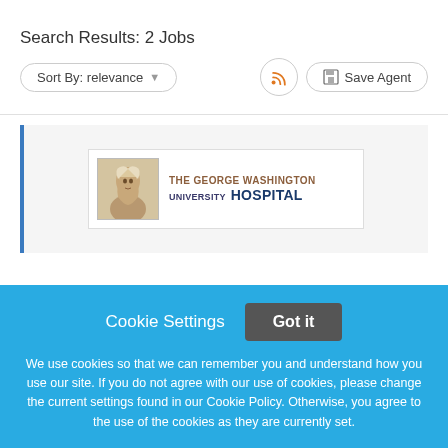Search Results: 2 Jobs
Sort By: relevance
[Figure (logo): The George Washington University Hospital logo with portrait of George Washington]
Cookie Settings
Got it
We use cookies so that we can remember you and understand how you use our site. If you do not agree with our use of cookies, please change the current settings found in our Cookie Policy. Otherwise, you agree to the use of the cookies as they are currently set.